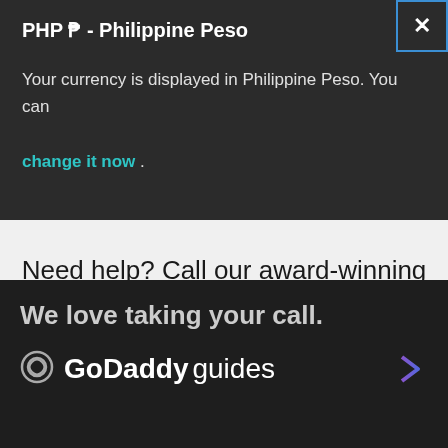PHP ₱ - Philippine Peso
Your currency is displayed in Philippine Peso. You can change it now .
Need help? Call our award-winning support team at
Support Manila: (02) 8231-2988
⊙ > Promos > Coupon Promo Codes
We love taking your call.
GoDaddy guides →